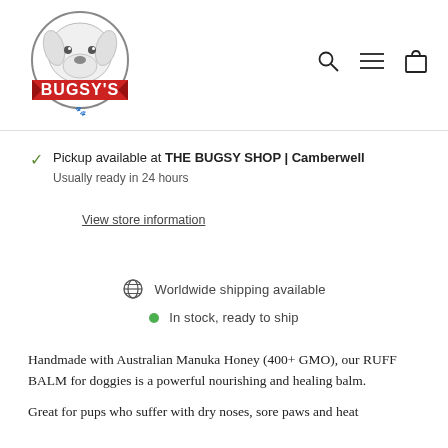[Figure (logo): Bugsy's shop logo — white dog illustration with red banner reading BUGSY'S, circular badge style]
[Figure (infographic): Navigation icons: search (magnifier), menu (hamburger lines), cart (shopping bag)]
Pickup available at THE BUGSY SHOP | Camberwell
Usually ready in 24 hours
View store information
Worldwide shipping available
In stock, ready to ship
Handmade with Australian Manuka Honey (400+ GMO), our RUFF BALM for doggies is a powerful nourishing and healing balm.
Great for pups who suffer with dry noses, sore paws and heat